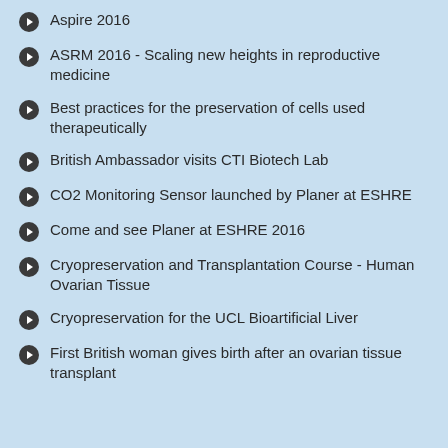Aspire 2016
ASRM 2016 - Scaling new heights in reproductive medicine
Best practices for the preservation of cells used therapeutically
British Ambassador visits CTI Biotech Lab
CO2 Monitoring Sensor launched by Planer at ESHRE
Come and see Planer at ESHRE 2016
Cryopreservation and Transplantation Course - Human Ovarian Tissue
Cryopreservation for the UCL Bioartificial Liver
First British woman gives birth after an ovarian tissue transplant